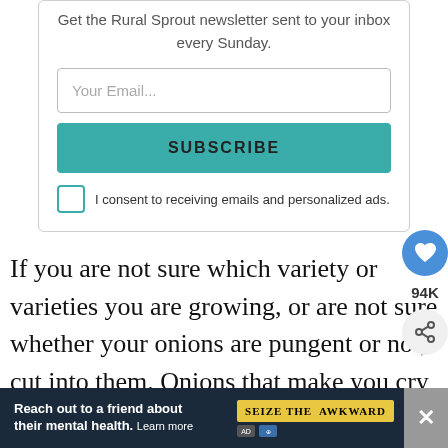Get the Rural Sprout newsletter sent to your inbox every Sunday.
Your Email...
SUBSCRIBE
I consent to receiving emails and personalized ads.
If you are not sure which variety or varieties you are growing, or are not sure whether your onions are pungent or not, cut into them. Onions that make you cry when you cut into them will last longer. The sulfurous co...
94K
Reach out to a friend about their mental health. Learn more
SEIZE THE AWKWARD